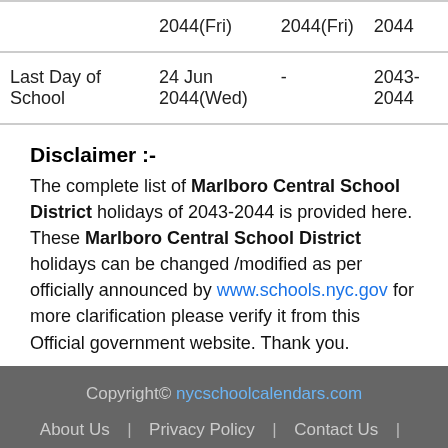|  | Date | - | Year |
| --- | --- | --- | --- |
| Last Day of School | 24 Jun 2044(Wed) | - | 2043-2044 |
Disclaimer :-
The complete list of Marlboro Central School District holidays of 2043-2044 is provided here. These Marlboro Central School District holidays can be changed /modified as per officially announced by www.schools.nyc.gov for more clarification please verify it from this Official government website. Thank you.
Copyright© nycschoolcalendars.com | About Us | Privacy Policy | Contact Us | Disclaimer |